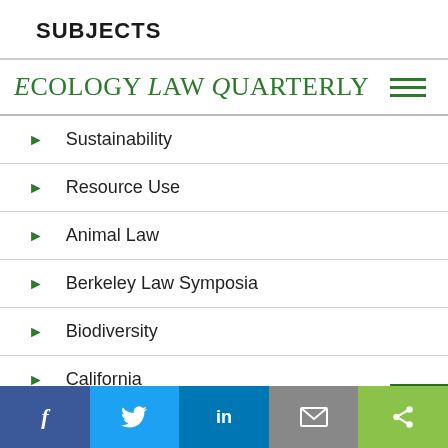SUBJECTS
ECOLOGY LAW QUARTERLY
Sustainability
Resource Use
Animal Law
Berkeley Law Symposia
Biodiversity
California
Climate Change
f  [Twitter]  in  [Email]  [Share]